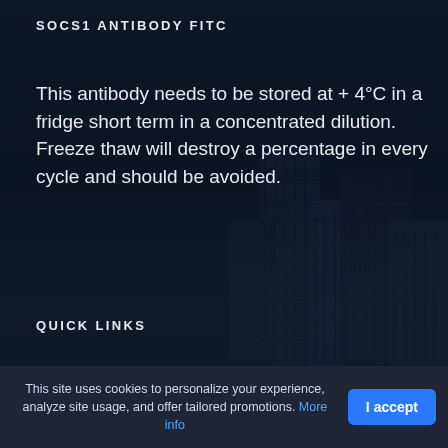SOCS1 ANTIBODY FITC
This antibody needs to be stored at + 4°C in a fridge short term in a concentrated dilution. Freeze thaw will destroy a percentage in every cycle and should be avoided.
QUICK LINKS
Home
Suppliers
Contact
This site uses cookies to personalize your experience, analyze site usage, and offer tailored promotions. More info